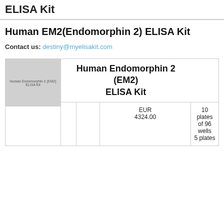ELISA Kit
Human EM2(Endomorphin 2) ELISA Kit
Contact us: destiny@myelisakit.com
[Figure (photo): Product image placeholder showing text 'Human Endomorphin 2 (EM2) ELISA Kit' in gray box]
|  |  | Price | Quantity |
| --- | --- | --- | --- |
|  |  | EUR 4324.00 | 10 plates of 96 wells
5 plates |